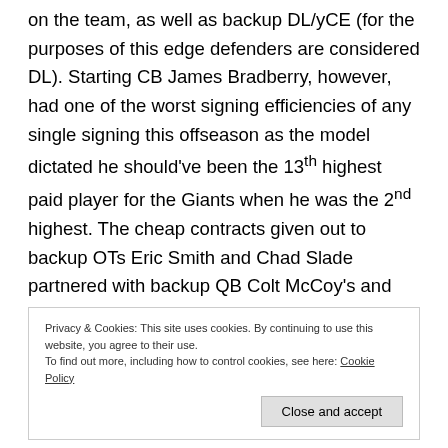on the team, as well as backup DL/yCE (for the purposes of this edge defenders are considered DL). Starting CB James Bradberry, however, had one of the worst signing efficiencies of any single signing this offseason as the model dictated he should've been the 13th highest paid player for the Giants when he was the 2nd highest. The cheap contracts given out to backup OTs Eric Smith and Chad Slade partnered with backup QB Colt McCoy's and backup WR Cody Core's small deals buoyed up the Giants from overpaying on average. It stands to note that if Kyler Fackrell ends up becoming the starter, the ASE will be slightly bigger,
Privacy & Cookies: This site uses cookies. By continuing to use this website, you agree to their use. To find out more, including how to control cookies, see here: Cookie Policy
Close and accept